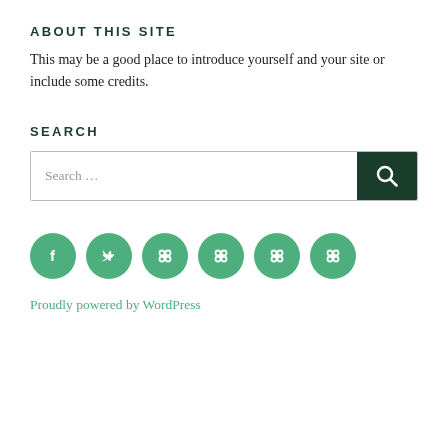ABOUT THIS SITE
This may be a good place to introduce yourself and your site or include some credits.
SEARCH
[Figure (other): Search input box with a dark green search button containing a magnifying glass icon. Placeholder text reads 'Search …']
[Figure (other): Row of six green circular social media icon buttons: Facebook, Twitter, and four generic link/chain icons]
Proudly powered by WordPress